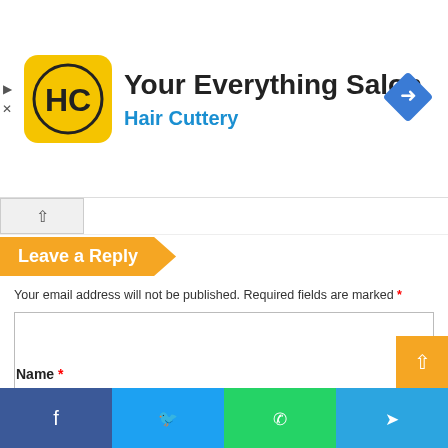[Figure (logo): Hair Cuttery ad banner with HC logo, title 'Your Everything Salon', subtitle 'Hair Cuttery', and navigation arrow icon]
Leave a Reply
Your email address will not be published. Required fields are marked *
Name *
[Figure (infographic): Social share bar with Facebook, Twitter, WhatsApp, and Telegram icons]